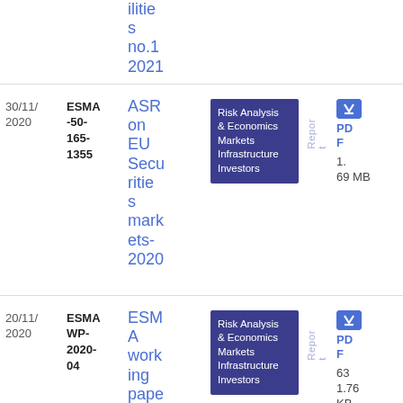ilities no.1 2021
| Date | Reference | Title | Tags | Type | Download |
| --- | --- | --- | --- | --- | --- |
| 30/11/2020 | ESMA-50-165-1355 | ASR on EU Securities markets-2020 | Risk Analysis & Economics Markets Infrastructure Investors | Report | PDF 1.69 MB |
| 20/11/2020 | ESMA WP-2020-04 | ESMA working paper on HET... | Risk Analysis & Economics Markets Infrastructure Investors | Report | PDF 631.76 KB |